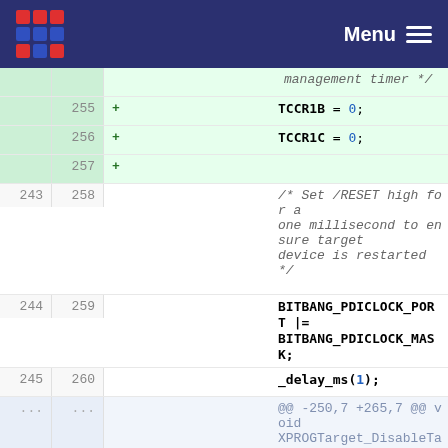Menu
[Figure (screenshot): Code diff showing changes to XPROGTarget PDI clock management. Lines 255-257 added (TCCR1B=0, TCCR1C=0), lines 243-245 context (Set /RESET high, BITBANG_PDICLOCK_PORT, _delay_ms), hunk @@ -250,7 +265,7 @@, lines 250-252 context, line 253 removed (BITBANG_PDICLOCK_PORT &= ~BITBANG_PDICLOCK_MASK), line 268 added (BITBANG_PDICLOCK_PORT &=).]